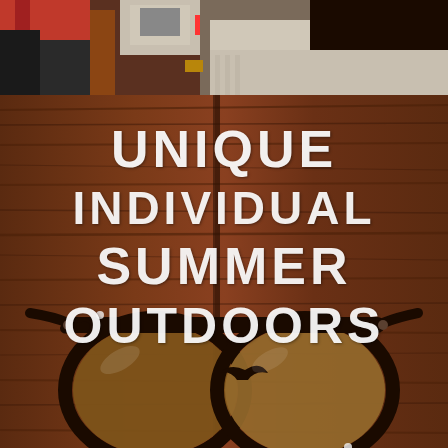[Figure (photo): Top strip photo showing two people, one with a red bag photographing with a phone, another in a white sweater with dark hair]
[Figure (photo): Main background: wooden table surface with dark wood grain texture, featuring a pair of round tortoiseshell sunglasses with brown lenses in the lower portion. Overlaid white bold stencil text reads UNIQUE / INDIVIDUAL / SUMMER / OUTDOORS]